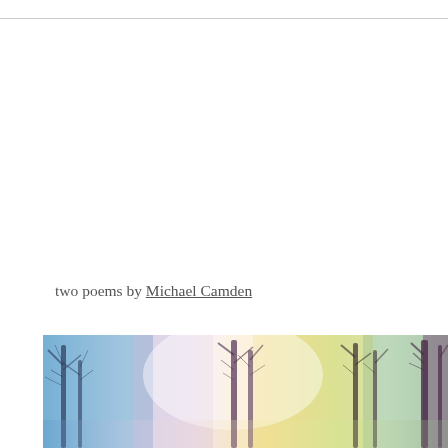two poems by Michael Camden
[Figure (photo): Colorful artistic photograph of bare winter trees with blue, purple, yellow and white color washes overlaid, creating a dreamy/painterly effect]